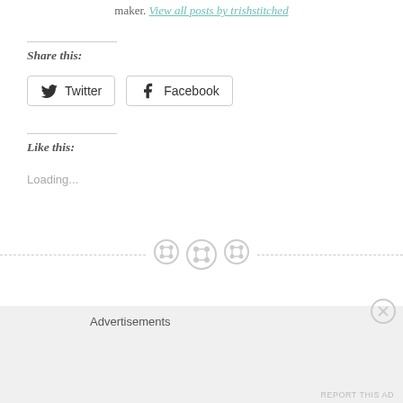maker. View all posts by trishstitched
Share this:
[Figure (other): Twitter and Facebook share buttons]
Like this:
Loading...
[Figure (other): Decorative button icons divider]
PREVIOUS POST
Advertisements
[Figure (other): Close (X) button for advertisement]